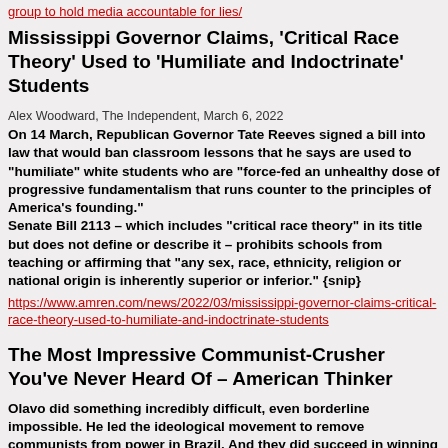group to hold media accountable for lies/
Mississippi Governor Claims, 'Critical Race Theory' Used to 'Humiliate and Indoctrinate' Students
Alex Woodward, The Independent, March 6, 2022
On 14 March, Republican Governor Tate Reeves signed a bill into law that would ban classroom lessons that he says are used to "humiliate" white students who are "force-fed an unhealthy dose of progressive fundamentalism that runs counter to the principles of America's founding." Senate Bill 2113 – which includes "critical race theory" in its title but does not define or describe it – prohibits schools from teaching or affirming that "any sex, race, ethnicity, religion or national origin is inherently superior or inferior." {snip}
https://www.amren.com/news/2022/03/mississippi-governor-claims-critical-race-theory-used-to-humiliate-and-indoctrinate-students
The Most Impressive Communist-Crusher You've Never Heard Of – American Thinker
Olavo did something incredibly difficult, even borderline impossible.  He led the ideological movement to remove communists from power in Brazil.  And they did succeed in winning back the presidency.
https://www.americanthinker.com/articles/2022/01/the_most_impressive_communistcrusher_youve_never_heard_of.html